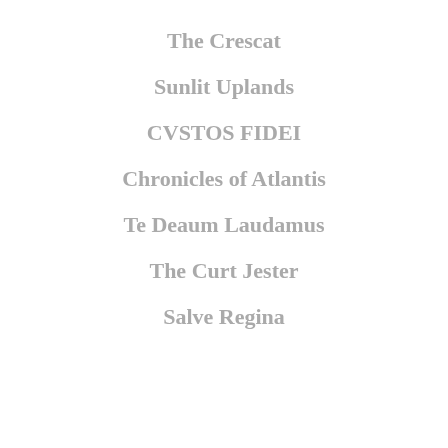The Crescat
Sunlit Uplands
CVSTOS FIDEI
Chronicles of Atlantis
Te Deaum Laudamus
The Curt Jester
Salve Regina